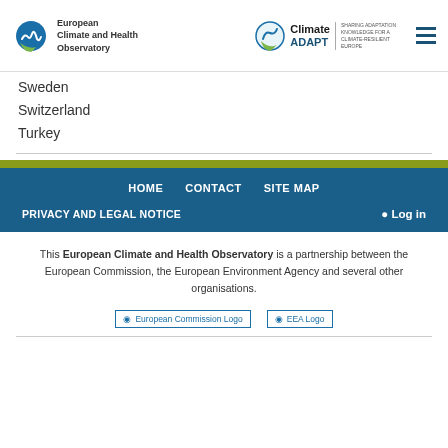European Climate and Health Observatory | Climate ADAPT – Sharing adaptation knowledge for a climate-resilient Europe
Sweden
Switzerland
Turkey
HOME | CONTACT | SITE MAP | PRIVACY AND LEGAL NOTICE | Log in
This European Climate and Health Observatory is a partnership between the European Commission, the European Environment Agency and several other organisations.
[Figure (logo): European Commission Logo placeholder image]
[Figure (logo): EEA Logo placeholder image]